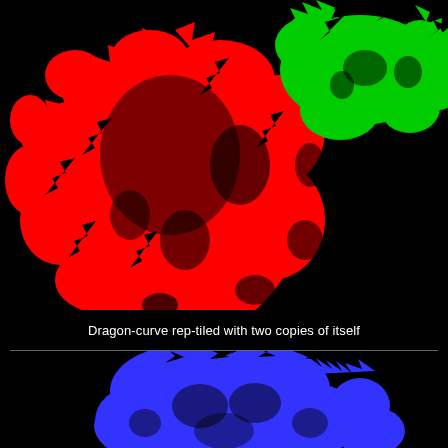[Figure (illustration): Dragon-curve fractal rep-tiled with two copies of itself. Upper portion shows a large red dragon-curve fractal on the left-center and a smaller green dragon-curve fractal on the upper right, both on a black background. Lower portion shows a blue dragon-curve fractal centered on a black background.]
Dragon-curve rep-tiled with two copies of itself